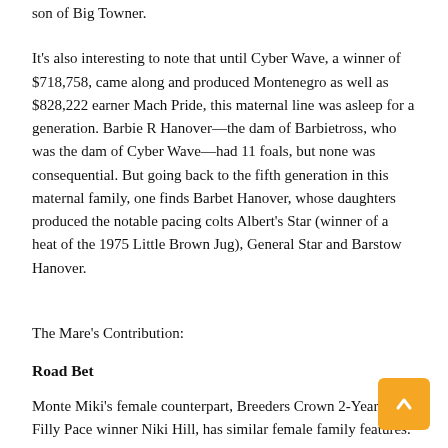son of Big Towner.
It's also interesting to note that until Cyber Wave, a winner of $718,758, came along and produced Montenegro as well as $828,222 earner Mach Pride, this maternal line was asleep for a generation. Barbie R Hanover—the dam of Barbietross, who was the dam of Cyber Wave—had 11 foals, but none was consequential. But going back to the fifth generation in this maternal family, one finds Barbet Hanover, whose daughters produced the notable pacing colts Albert's Star (winner of a heat of the 1975 Little Brown Jug), General Star and Barstow Hanover.
The Mare's Contribution:
Road Bet
Monte Miki's female counterpart, Breeders Crown 2-Year-Old Filly Pace winner Niki Hill, has similar female family features.